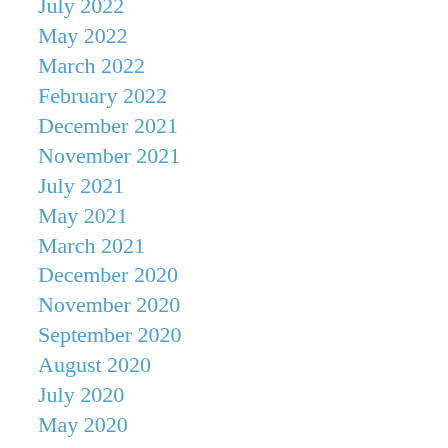July 2022
May 2022
March 2022
February 2022
December 2021
November 2021
July 2021
May 2021
March 2021
December 2020
November 2020
September 2020
August 2020
July 2020
May 2020
April 2020
February 2020
January 2020
November 2019
October 2019